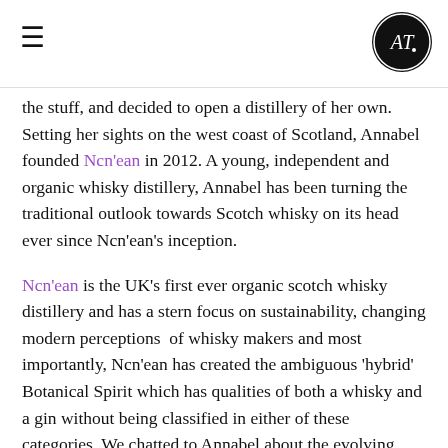≡  [AT logo]
the stuff, and decided to open a distillery of her own. Setting her sights on the west coast of Scotland, Annabel founded Ncn'ean in 2012. A young, independent and organic whisky distillery, Annabel has been turning the traditional outlook towards Scotch whisky on its head ever since Ncn'ean's inception.
Ncn'ean is the UK's first ever organic scotch whisky distillery and has a stern focus on sustainability, changing modern perceptions of whisky makers and most importantly, Ncn'ean has created the ambiguous 'hybrid' Botanical Spirit which has qualities of both a whisky and a gin without being classified in either of these categories. We chatted to Annabel about the evolving whisky landscape, advice for new whisky drinkers, and being kind to the environment: